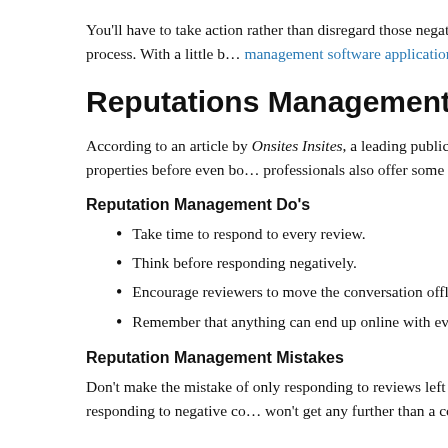You'll have to take action rather than disregard those negative remarks. Hire a management consultant to begin the healing process. With a little help from a management software application, it's possible to improve your pro…
Reputations Management Do's and Do…
According to an article by Onsites Insites, a leading publication for… consumers read online reviews of rental properties before even bo… professionals also offer some tips on how to manage any negative…
Reputation Management Do's
Take time to respond to every review.
Think before responding negatively.
Encourage reviewers to move the conversation offline by offer…
Remember that anything can end up online with every action y…
Reputation Management Mistakes
Don't make the mistake of only responding to reviews left by curren… future, and the Internet is forever. Avoid responding to negative co… won't get any further than a complaint form letter or a phone call –…